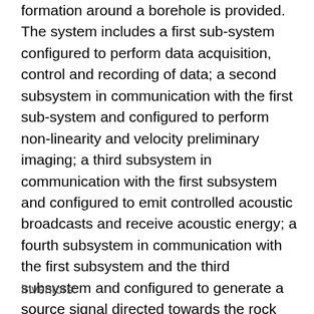formation around a borehole is provided. The system includes a first sub-system configured to perform data acquisition, control and recording of data; a second subsystem in communication with the first sub-system and configured to perform non-linearity and velocity preliminary imaging; a third subsystem in communication with the first subsystem and configured to emit controlled acoustic broadcasts and receive acoustic energy; a fourth subsystem in communication with the first subsystem and the third subsystem and configured to generate a source signal directed towards the rock formation; and a fifth subsystem in communication with the third subsystem and the fourth subsystem and configured to perform detection of signals representative of the non-linear properties of the rock formation.
Inventors: